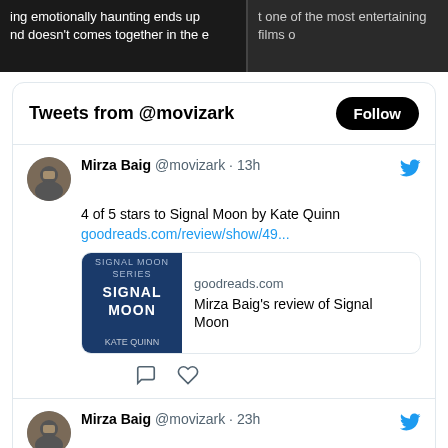ing emotionally haunting ends up nd doesn't comes together in the e
t one of the most entertaining films o
Tweets from @movizark
Mirza Baig @movizark · 13h
4 of 5 stars to Signal Moon by Kate Quinn
goodreads.com/review/show/49...
goodreads.com
Mirza Baig's review of Signal Moon
Mirza Baig @movizark · 23h
'Nope' is a strange yet undeniably original thrilling experience that once again shows off Jordan Peele's skills as a filmmaker. #BarbieFerreira, #BrandonPerea, #DanielKaluuya, #JordanPeele